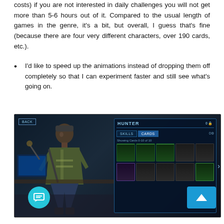costs) if you are not interested in daily challenges you will not get more than 5-6 hours out of it. Compared to the usual length of games in the genre, it's a bit, but overall, I guess that's fine (because there are four very different characters, over 190 cards, etc.).
I'd like to speed up the animations instead of dropping them off completely so that I can experiment faster and still see what's going on.
[Figure (screenshot): Game screenshot showing a character (Hunter) standing on the left side with a card/skills panel on the right side displaying a grid of cards labeled 'Showing Cards 0-10 of 10'. The panel has tabs for SKILLS and CARDS. A BACK button is visible in the upper left.]